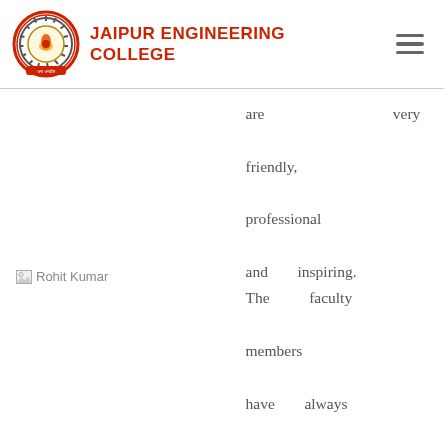JAIPUR ENGINEERING COLLEGE
[Figure (photo): Broken image placeholder labeled 'Rohit Kumar']
are very friendly, professional and inspiring. The faculty members have always encouraged us to learn through projects which were very helpful